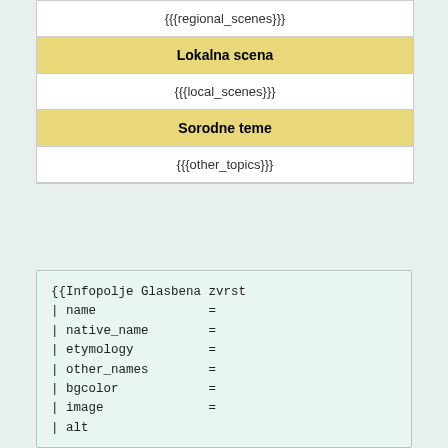{{{regional_scenes}}}
Lokalna scena
{{{local_scenes}}}
Sorodne teme
{{{other_topics}}}
{{Infopolje Glasbena zvrst
| name               =
| native_name        =
| etymology          =
| other_names        =
| bgcolor            =
| image              =
| alt